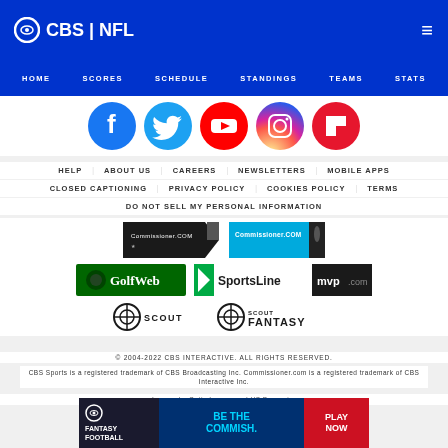CBS | NFL — HOME SCORES SCHEDULE STANDINGS TEAMS STATS
[Figure (logo): Social media icons row: Facebook, Twitter, YouTube, Instagram, Flipboard]
HELP | ABOUT US | CAREERS | NEWSLETTERS | MOBILE APPS
CLOSED CAPTIONING | PRIVACY POLICY | COOKIES POLICY | TERMS
DO NOT SELL MY PERSONAL INFORMATION
[Figure (logo): Partner logos: Commissioner.com (black), Commissioner.com (blue), GolfWeb, SportsLine, mvp.com, Scout, Scout Fantasy]
© 2004-2022 CBS INTERACTIVE. ALL RIGHTS RESERVED.
CBS Sports is a registered trademark of CBS Broadcasting Inc. Commissioner.com is a registered trademark of CBS Interactive Inc.
Images by Getty Images and US Presswire
[Figure (infographic): Fantasy Football ad banner: BE THE COMMISH. PLAY NOW]